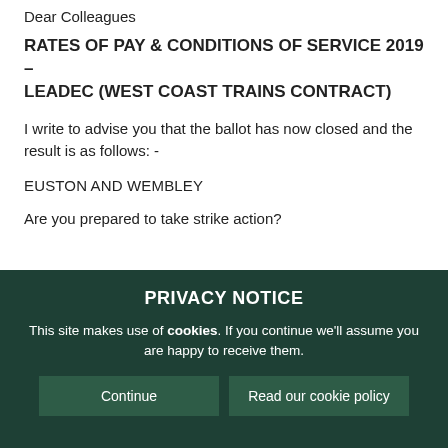Dear Colleagues
RATES OF PAY & CONDITIONS OF SERVICE 2019 – LEADEC (WEST COAST TRAINS CONTRACT)
I write to advise you that the ballot has now closed and the result is as follows: -
EUSTON AND WEMBLEY
Are you prepared to take strike action?
PRIVACY NOTICE
This site makes use of cookies. If you continue we'll assume you are happy to receive them.